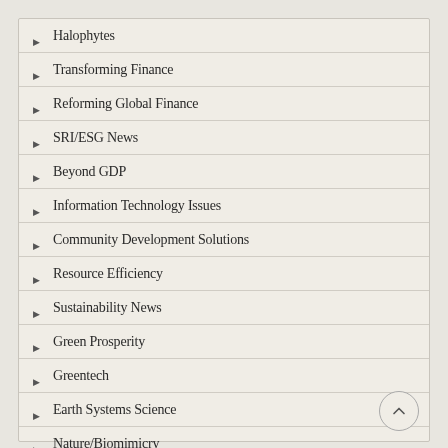Halophytes
Transforming Finance
Reforming Global Finance
SRI/ESG News
Beyond GDP
Information Technology Issues
Community Development Solutions
Resource Efficiency
Sustainability News
Green Prosperity
Greentech
Earth Systems Science
Nature/Biomimicry